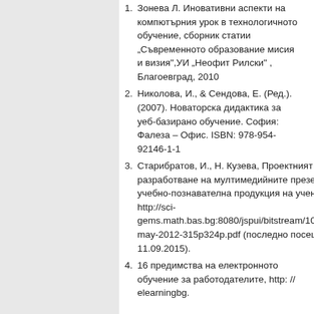1. Зонева Л. Иновативни аспекти на компютърния урок в технологичното обучение, сборник статии „Съвременното образование мисия и визия",УИ „Неофит Рилски" , Благоевград, 2010
2. Николова, И., & Сендова, Е. (Ред.). (2007). Новаторска дидактика за уеб-базирано обучение. София: Фалеза – Офис. ISBN: 978-954-92146-1-1
3. Старибратов, И., Н. Кузева, Проектният принцип при разработване на мултимедийните презентации като учебно-познавателна продукция на учениците, 2012, http://sci-gems.math.bas.bg:8080/jspui/bitstream/10525/1829/1/a may-2012-315p324p.pdf (последно посещение на 11.09.2015).
4. 16 предимства на електронното обучение за работодателите, http: // elearningbg.